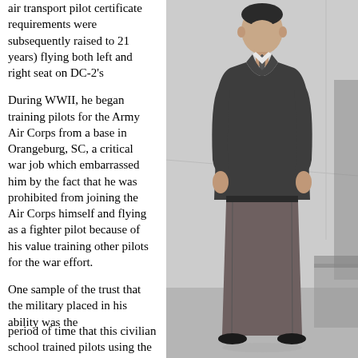air transport pilot certificate requirements were subsequently raised to 21 years) flying both left and right seat on DC-2's
During WWII, he began training pilots for the Army Air Corps from a base in Orangeburg, SC, a critical war job which embarrassed him by the fact that he was prohibited from joining the Air Corps himself and flying as a fighter pilot because of his value training other pilots for the war effort.
One sample of the trust that the military placed in his ability was the period of time that this civilian school trained pilots using the
[Figure (photo): Black and white photograph of a man in a suit standing outdoors, full body shot.]